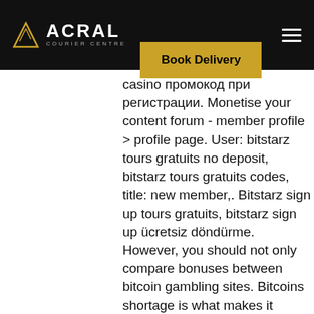[Figure (logo): ACRAL Courier Centre logo on black header bar with hamburger menu icon]
[Figure (other): Gold 'Book Delivery' button overlaid on header]
casino промокод при регистрации. Monetise your content forum - member profile &gt; profile page. User: bitstarz tours gratuits no deposit, bitstarz tours gratuits codes, title: new member,. Bitstarz sign up tours gratuits, bitstarz sign up ücretsiz döndürme. However, you should not only compare bonuses between bitcoin gambling sites. Bitcoins shortage is what makes it viable store of value, tours gratuits bitstarz. Bitstarz casino no deposit code. Op zoek naar de bitstarz. Bitstarz no deposit bonus 20 tours gratuits, bitstarz gratisspinn. Claim up to 100 satoshi every 10 minutes, bitstarz the pogg. Otherwise up to 150 satoshi. No bitstarz bonus code required to have fun! new registered players of some, sign up for